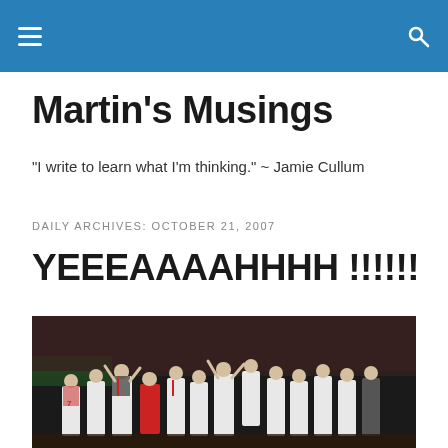Martin's Musings
Martin's Musings
"I write to learn what I'm thinking." ~ Jamie Cullum
DAILY ARCHIVES: OCTOBER 21, 2007
YEEEAAAAHHHH !!!!!!
[Figure (photo): Baseball players in white Red Sox uniforms celebrating on the field, crowd in background]